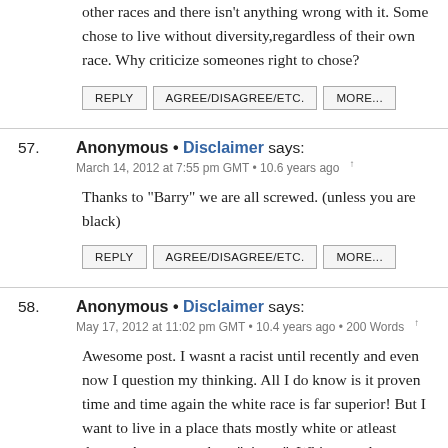other races and there isn't anything wrong with it. Some chose to live without diversity,regardless of their own race. Why criticize someones right to chose?
REPLY  AGREE/DISAGREE/ETC.  MORE...
57. Anonymous • Disclaimer says:
March 14, 2012 at 7:55 pm GMT • 10.6 years ago ↑

Thanks to "Barry" we are all screwed. (unless you are black)
REPLY  AGREE/DISAGREE/ETC.  MORE...
58. Anonymous • Disclaimer says:
May 17, 2012 at 11:02 pm GMT • 10.4 years ago • 200 Words ↑

Awesome post. I wasnt a racist until recently and even now I question my thinking. All I do know is it proven time and time again the white race is far superior! But I want to live in a place thats mostly white or atleast decent. Anyone can be a "nigger". White people included. I feel no hate towards individuals of color. Just the ones making shitty decisions and hurting, raping